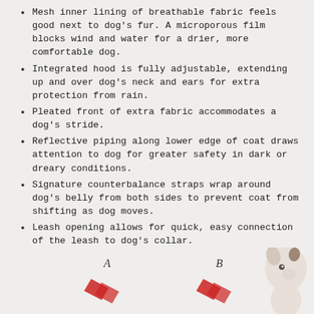Mesh inner lining of breathable fabric feels good next to dog's fur. A microporous film blocks wind and water for a drier, more comfortable dog.
Integrated hood is fully adjustable, extending up and over dog's neck and ears for extra protection from rain.
Pleated front of extra fabric accommodates a dog's stride.
Reflective piping along lower edge of coat draws attention to dog for greater safety in dark or dreary conditions.
Signature counterbalance straps wrap around dog's belly from both sides to prevent coat from shifting as dog moves.
Leash opening allows for quick, easy connection of the leash to dog's collar.
Optional customizable harness opening may be added if your dog wears a body harness.
TUMMY WARMER FEATURES
[Figure (photo): Bottom portion of page showing two labeled diagram points A and B with red arrows, and a small white dog photo on the right side.]